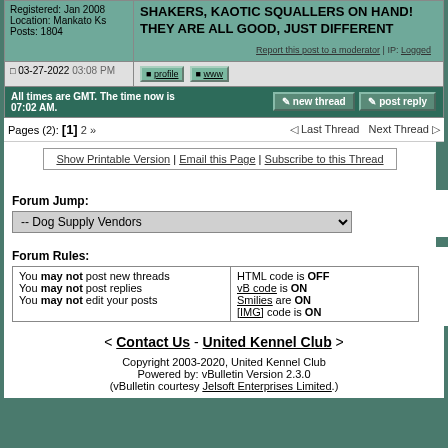Registered: Jan 2008
Location: Mankato Ks
Posts: 1804
SHAKERS, KAOTIC SQUALLERS ON HAND! THEY ARE ALL GOOD, JUST DIFFERENT
Report this post to a moderator | IP: Logged
03-27-2022 03:08 PM
All times are GMT. The time now is 07:02 AM.
Pages (2): [1] 2 »
Last Thread   Next Thread
Show Printable Version | Email this Page | Subscribe to this Thread
Forum Jump:
-- Dog Supply Vendors
Forum Rules:
| You may not post new threads
You may not post replies
You may not edit your posts | HTML code is OFF
vB code is ON
Smilies are ON
[IMG] code is ON |
< Contact Us - United Kennel Club >
Copyright 2003-2020, United Kennel Club
Powered by: vBulletin Version 2.3.0
(vBulletin courtesy Jelsoft Enterprises Limited.)